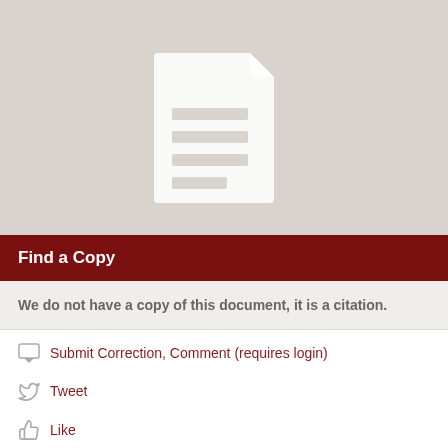[Figure (illustration): Gray placeholder box showing a white document/file icon in the center]
Find a Copy
We do not have a copy of this document, it is a citation.
Submit Correction, Comment (requires login)
Tweet
Like
Email